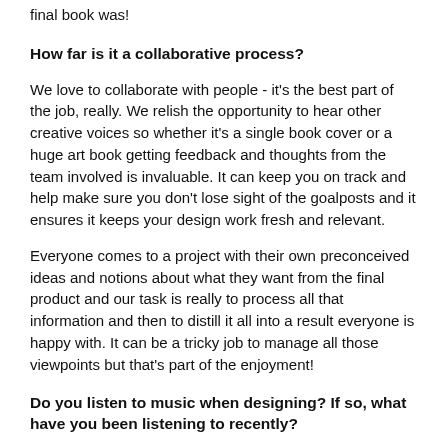final book was!
How far is it a collaborative process?
We love to collaborate with people - it's the best part of the job, really. We relish the opportunity to hear other creative voices so whether it's a single book cover or a huge art book getting feedback and thoughts from the team involved is invaluable. It can keep you on track and help make sure you don't lose sight of the goalposts and it ensures it keeps your design work fresh and relevant.
Everyone comes to a project with their own preconceived ideas and notions about what they want from the final product and our task is really to process all that information and then to distill it all into a result everyone is happy with. It can be a tricky job to manage all those viewpoints but that's part of the enjoyment!
Do you listen to music when designing? If so, what have you been listening to recently?
Oh we listen to loads of stuff in the office. We're really enjoying Nick Cave and Warren Ellis' Carnage album which came out during the lockdown, and the recently Bad Seeds B-Sides compilation is great too. We also love The National as they feature heavily in the studio